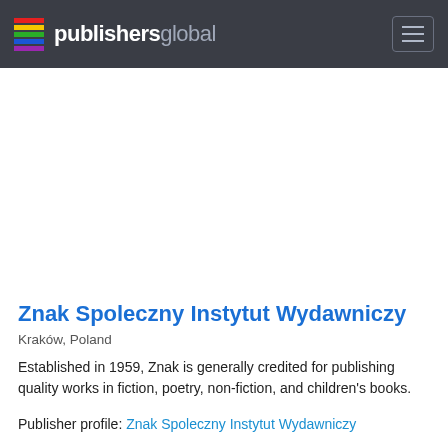publishersglobal
Znak Spoleczny Instytut Wydawniczy
Kraków, Poland
Established in 1959, Znak is generally credited for publishing quality works in fiction, poetry, non-fiction, and children's books.
Publisher profile: Znak Spoleczny Instytut Wydawniczy